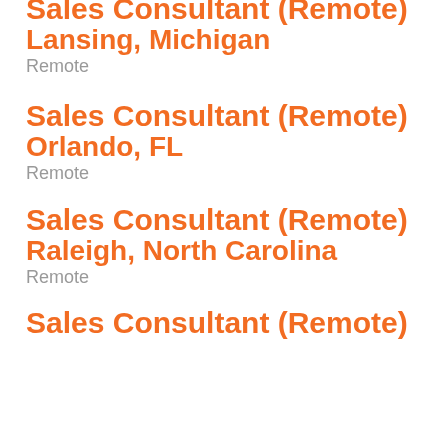Sales Consultant (Remote)
Lansing, Michigan
Remote
Sales Consultant (Remote)
Orlando, FL
Remote
Sales Consultant (Remote)
Raleigh, North Carolina
Remote
Sales Consultant (Remote)